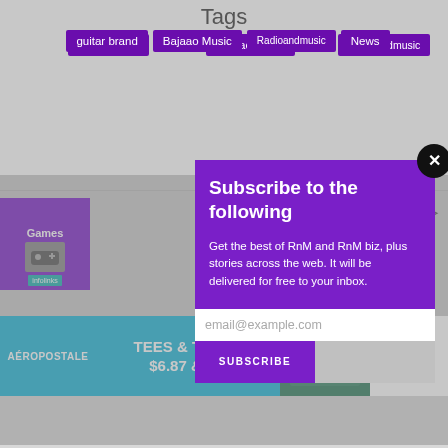Tags
guitar brand
Bajaao Music
Radioandmusic
News
PROMOTED
[Figure (screenshot): Subscribe modal popup with purple background, title 'Subscribe to the following', body text, email input field, and SUBSCRIBE button. Close (X) button in top-right corner. Overlaid on a gray webpage background.]
[Figure (infographic): Aeropostale advertisement banner: TEES & TANKS $6.87 & UP, with brand name on left, image of clothing/product in center-right, and SHOP NOW button on far right. Small close X in top-right corner.]